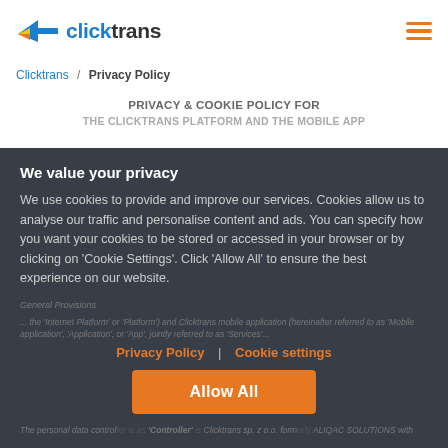clicktrans
Clicktrans / Privacy Policy
PRIVACY & COOKIE POLICY FOR THE CLICKTRANS PLATFORM AND THE MOBILE APP
We value your privacy
We use cookies to provide and improve our services. Cookies allow us to analyse our traffic and personalise content and ads. You can specify how you want your cookies to be stored or accessed in your browser or by clicking on 'Cookie Settings'. Click 'Allow All' to ensure the best experience on our website.
Privacy Policy  |  Cookie settings
Allow All
The personal data controller is as 'Controller' is Clicktrans sp. z o.o. formerly ALIQAC SOLUTIONS with